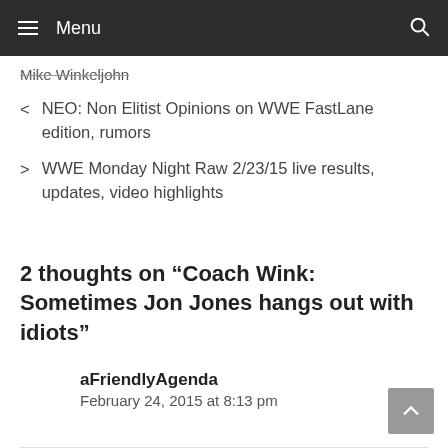Menu
Mike Winkeljohn
< NEO: Non Elitist Opinions on WWE FastLane edition, rumors
> WWE Monday Night Raw 2/23/15 live results, updates, video highlights
2 thoughts on “Coach Wink: Sometimes Jon Jones hangs out with idiots”
aFriendlyAgenda
February 24, 2015 at 8:13 pm